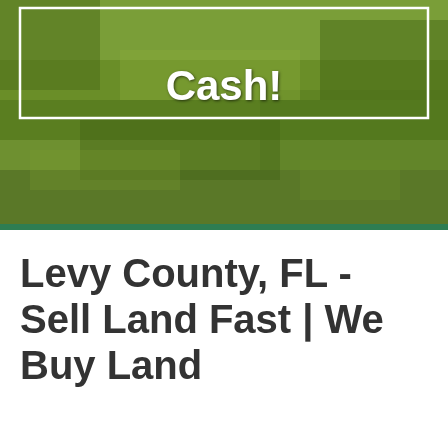[Figure (photo): Outdoor landscape photo of green grassy field/wetland area with text overlay 'Cash!' in white bold font inside a white bordered rectangle]
Levy County, FL - Sell Land Fast | We Buy Land